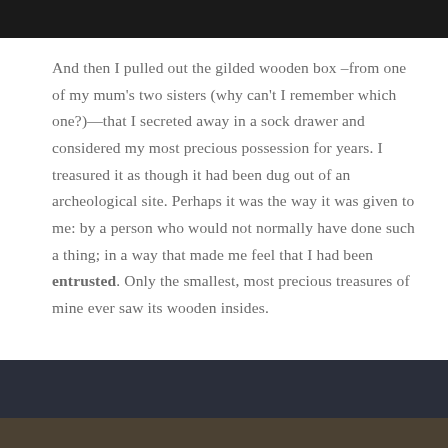[Figure (photo): Dark/black image strip at the top of the page]
And then I pulled out the gilded wooden box –from one of my mum's two sisters (why can't I remember which one?)—that I secreted away in a sock drawer and considered my most precious possession for years. I treasured it as though it had been dug out of an archeological site. Perhaps it was the way it was given to me: by a person who would not normally have done such a thing; in a way that made me feel that I had been entrusted. Only the smallest, most precious treasures of mine ever saw its wooden insides.
[Figure (photo): Dark navy/blue fabric or textile image at the bottom of the page]